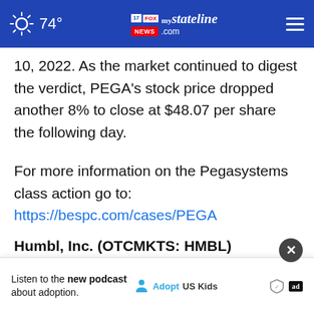74° mystateline.com NEWS
10, 2022. As the market continued to digest the verdict, PEGA's stock price dropped another 8% to close at $48.07 per share the following day.
For more information on the Pegasystems class action go to: https://bespc.com/cases/PEGA
Humbl, Inc. (OTCMKTS: HMBL)
Class Period: November 1, 2020 – May 19, 2022
Lead
[Figure (screenshot): Advertisement banner: 'Listen to the new podcast about adoption.' with Adopt US Kids logo and ad badges]